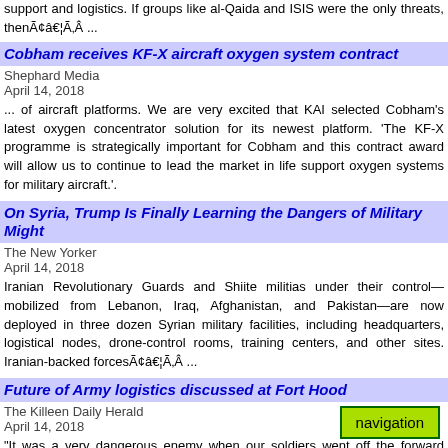support and logistics. If groups like al-Qaida and ISIS were the only threats, thenÃ¢â€¦Ã‚Â ...
Cobham receives KF-X aircraft oxygen system contract
Shephard Media
April 14, 2018
... of aircraft platforms. We are very excited that KAI selected Cobham's latest oxygen concentrator solution for its newest platform. 'The KF-X programme is strategically important for Cobham and this contract award will allow us to continue to lead the market in life support oxygen systems for military aircraft.'.
On Syria, Trump Is Finally Learning the Dangers of Military Might
The New Yorker
April 14, 2018
Iranian Revolutionary Guards and Shiite militias under their control—mobilized from Lebanon, Iraq, Afghanistan, and Pakistan—are now deployed in three dozen Syrian military facilities, including headquarters, logistical nodes, drone-control rooms, training centers, and other sites. Iranian-backed forcesÃ¢â€¦Ã‚Â ...
Future of Army logistics discussed at Fort Hood
The Killeen Daily Herald
April 14, 2018
"It was a very dangerous enemy when our soldiers went off the forward operating base, but to say we could let our train the enemy close in, then if